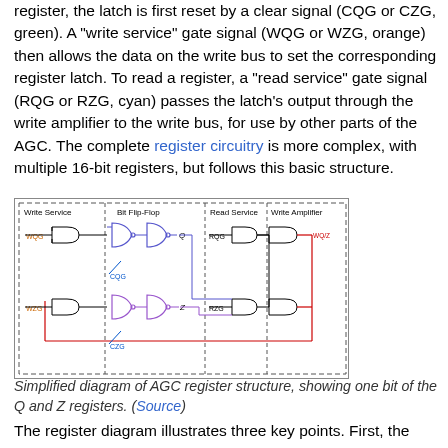register, the latch is first reset by a clear signal (CQG or CZG, green). A "write service" gate signal (WQG or WZG, orange) then allows the data on the write bus to set the corresponding register latch. To read a register, a "read service" gate signal (RQG or RZG, cyan) passes the latch's output through the write amplifier to the write bus, for use by other parts of the AGC. The complete register circuitry is more complex, with multiple 16-bit registers, but follows this basic structure.
[Figure (schematic): Simplified circuit diagram of AGC register structure showing Write Service, Bit Flip-Flop, Read Service, and Write Amplifier sections with logic gates and connections for one bit of Q and Z registers.]
Simplified diagram of AGC register structure, showing one bit of the Q and Z registers. (Source)
The register diagram illustrates three key points. First, the